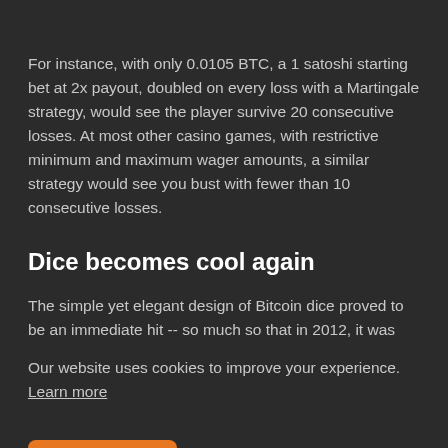For instance, with only 0.0105 BTC, a 1 satoshi starting bet at 2x payout, doubled on every loss with a Martingale strategy, would see the player survive 20 consecutive losses. At most other casino games, with restrictive minimum and maximum wager amounts, a similar strategy would see you bust with fewer than 10 consecutive losses.
Dice becomes cool again
The simple yet elegant design of Bitcoin dice proved to be an immediate hit -- so much so that in 2012, it was
Our website uses cookies to improve your experience. Learn more
Accept !